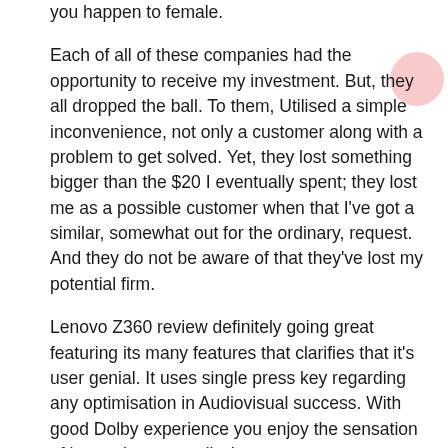you happen to female.

Each of all of these companies had the opportunity to receive my investment. But, they all dropped the ball. To them, Utilised a simple inconvenience, not only a customer along with a problem to get solved. Yet, they lost something bigger than the $20 I eventually spent; they lost me as a possible customer when that I've got a similar, somewhat out for the ordinary, request. And they do not be aware of that they've lost my potential firm.

Lenovo Z360 review definitely going great featuring its many features that clarifies that it's user genial. It uses single press key regarding any optimisation in Audiovisual success. With good Dolby experience you enjoy the sensation of home theatre easily. Laptop computer contains is intended to handle several kinds of media and it is thin with hardly density of 8.2 inches. This laptop has yet smaller screen that will make it more great-looking. Its